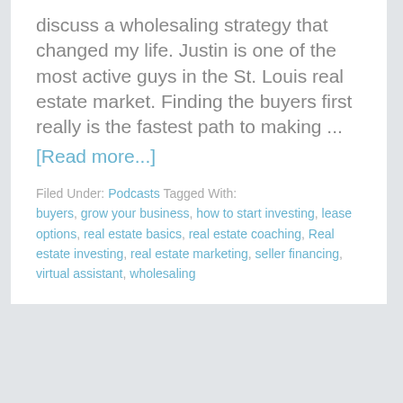discuss a wholesaling strategy that changed my life. Justin is one of the most active guys in the St. Louis real estate market. Finding the buyers first really is the fastest path to making ...
[Read more...]
Filed Under: Podcasts Tagged With: buyers, grow your business, how to start investing, lease options, real estate basics, real estate coaching, Real estate investing, real estate marketing, seller financing, virtual assistant, wholesaling